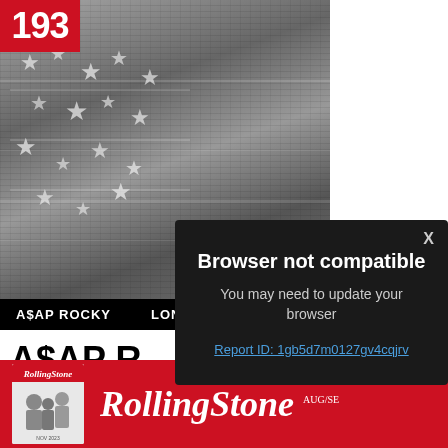[Figure (photo): Black and white album cover for A$AP Rocky 'Long.Live.A$AP' showing a person wrapped in an American flag with glitch/scan-line effect]
A$AP ROCKY   LONG.LIVE.A$AP
[Figure (other): Red badge/number showing '193']
A$AP R... A$AP' (
Exuding an almos
Browser not compatible
You may need to update your browser
Report ID: 1gb5d7m0127gv4cqjrv
[Figure (logo): Rolling Stone magazine banner with red background showing Rolling Stone logo and magazine cover thumbnail]